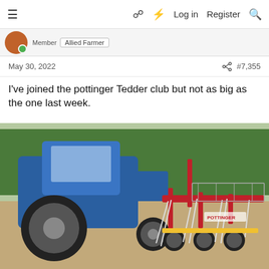≡  □  ⚡  Log in  Register  🔍
Member  Allied Farmer
May 30, 2022  #7,355
I've joined the pottinger Tedder club but not as big as the one last week.
[Figure (photo): A blue New Holland tractor with a red and yellow Pottinger tedder attachment in a yard, trees visible in background.]